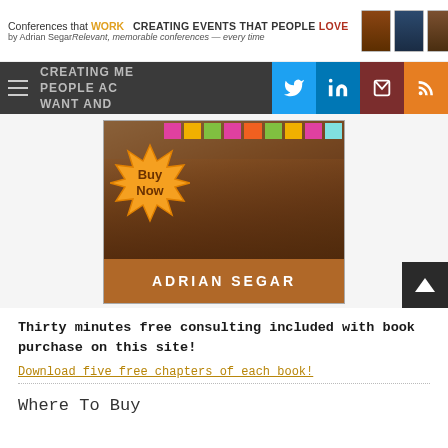Conferences that WORK  CREATING EVENTS THAT PEOPLE LOVE  by Adrian Segar  Relevant, memorable conferences — every time
[Figure (screenshot): Navigation bar with hamburger menu icon, partial text 'CREATING ME... PEOPLE AC... WANT AND', and social media icons: Twitter (blue), LinkedIn (blue), Mail (dark red), RSS (orange)]
[Figure (photo): Book cover image for a book by Adrian Segar with people at a conference reviewing sticky notes on wall, with a 'Buy Now' starburst badge and 'ADRIAN SEGAR' author bar at bottom]
Thirty minutes free consulting included with book purchase on this site!
Download five free chapters of each book!
Where To Buy